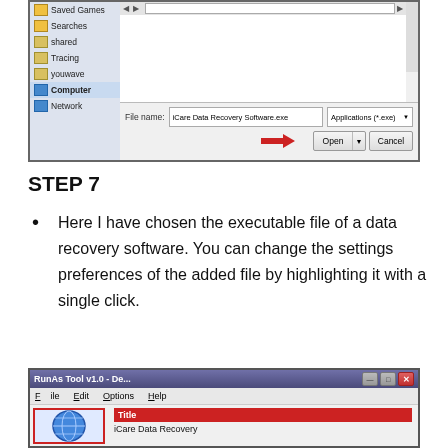[Figure (screenshot): Windows file open dialog showing folder list with Saved Games, Searches, shared, Tracing, youwave, Computer, Network. File name field shows 'iCare Data Recovery Software.exe', file type 'Applications (*.exe)', with red arrow pointing to Open button.]
STEP 7
Here I have chosen the executable file of a data recovery software. You can change the settings preferences of the added file by highlighting it with a single click.
[Figure (screenshot): RunAs Tool v1.0 application window with File, Edit, Options, Help menu. Left panel shows globe icon with red border. Right panel shows Title header in red with 'iCare Data Recovery' text below.]